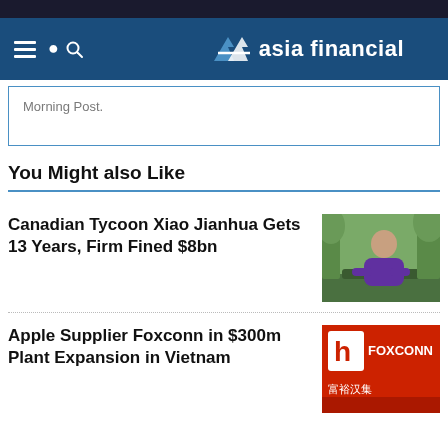asia financial
Morning Post.
You Might also Like
Canadian Tycoon Xiao Jianhua Gets 13 Years, Firm Fined $8bn
[Figure (photo): Photo of Xiao Jianhua seated on a bench outdoors, wearing a purple jacket]
Apple Supplier Foxconn in $300m Plant Expansion in Vietnam
[Figure (photo): Foxconn sign/logo in red with Chinese characters]